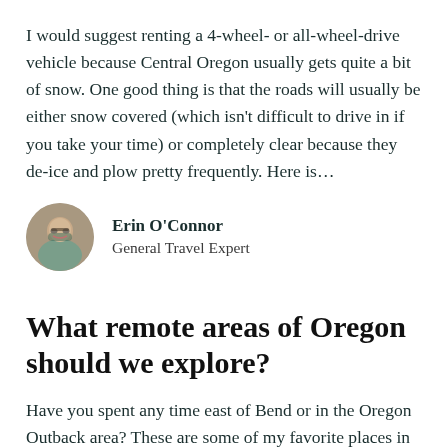I would suggest renting a 4-wheel- or all-wheel-drive vehicle because Central Oregon usually gets quite a bit of snow. One good thing is that the roads will usually be either snow covered (which isn't difficult to drive in if you take your time) or completely clear because they de-ice and plow pretty frequently. Here is…
[Figure (photo): Circular avatar photo of Erin O'Connor, a woman with glasses smiling, wearing a teal/dark top]
Erin O'Connor
General Travel Expert
What remote areas of Oregon should we explore?
Have you spent any time east of Bend or in the Oregon Outback area? These are some of my favorite places in